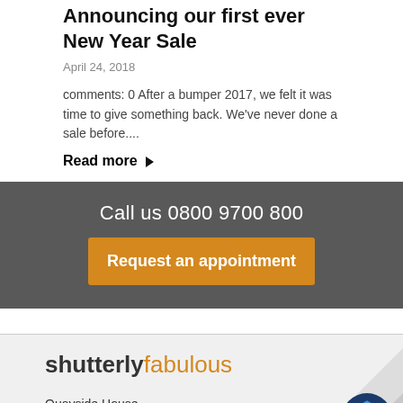Announcing our first ever New Year Sale
April 24, 2018
comments: 0 After a bumper 2017, we felt it was time to give something back. We've never done a sale before....
Read more ▶
Call us 0800 9700 800
Request an appointment
[Figure (logo): Shutterly Fabulous logo in black and orange text]
Quayside House, Basin Road South, Hove, BN41 1WF
[Figure (logo): Manage badge with hexagon icon on page curl graphic]